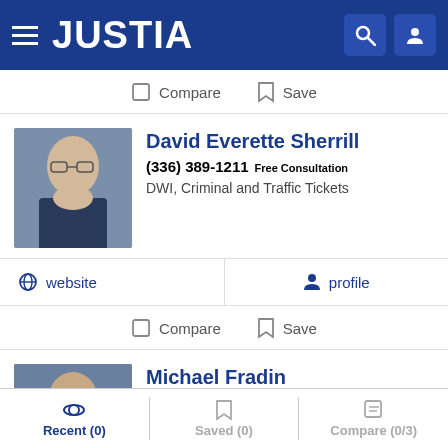JUSTIA
Compare  Save
David Everette Sherrill
(336) 389-1211 Free Consultation
DWI, Criminal and Traffic Tickets
website   profile
Compare  Save
Michael Fradin
(877) 978-3218 Free Consultation
DWI and Criminal
Recent (0)   Saved (0)   Compare (0/3)